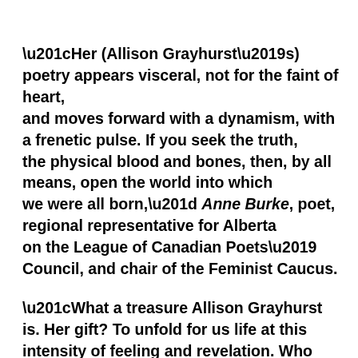“Her (Allison Grayhurst’s) poetry appears visceral, not for the faint of heart, and moves forward with a dynamism, with a frenetic pulse. If you seek the truth, the physical blood and bones, then, by all means, open the world into which we were all born,” Anne Burke, poet, regional representative for Alberta on the League of Canadian Poets’ Council, and chair of the Feminist Caucus.
“What a treasure Allison Grayhurst is. Her gift? To unfold for us life at this intensity of feeling and revelation. Who knew truth and beauty could be so intertwined and so passionate?” Taylor Jane Green